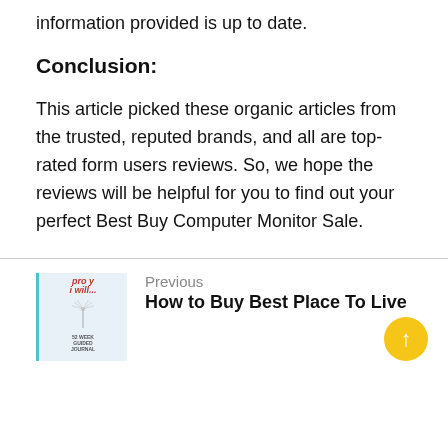information provided is up to date.
Conclusion:
This article picked these organic articles from the trusted, reputed brands, and all are top-rated form users reviews. So, we hope the reviews will be helpful for you to find out your perfect Best Buy Computer Monitor Sale.
Previous
How to Buy Best Place To Live